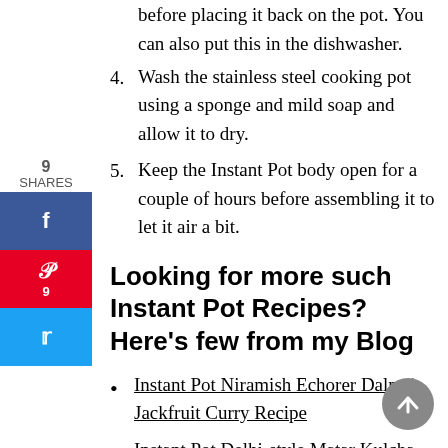before placing it back on the pot. You can also put this in the dishwasher.
4. Wash the stainless steel cooking pot using a sponge and mild soap and allow it to dry.
5. Keep the Instant Pot body open for a couple of hours before assembling it to let it air a bit.
Looking for more such Instant Pot Recipes? Here's few from my Blog
Instant Pot Niramish Echorer Dalna | Jackfruit Curry Recipe
Instant Pot Delhi-style Matar Kulcha